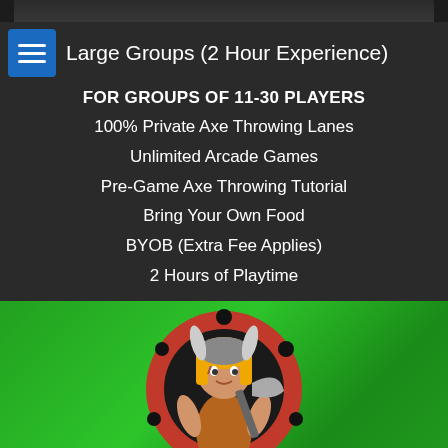[Figure (screenshot): Top partial image strip showing dark background, partial view of a venue/game area]
Large Groups (2 Hour Experience)
FOR GROUPS OF 11-30 PLAYERS
100% Private Axe Throwing Lanes
Unlimited Arcade Games
Pre-Game Axe Throwing Tutorial
Bring Your Own Food
BYOB (Extra Fee Applies)
2 Hours of Playtime
[Figure (logo): Viking axe throwing logo on green background: cartoon female viking warrior holding axe in front of a red and black target circle, with VIKING text below in large white bold letters]